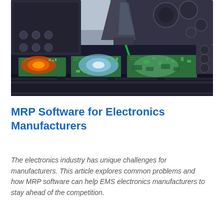[Figure (photo): Close-up photograph of an automated PCB (printed circuit board) manufacturing machine applying solder or components to green circuit boards under bright industrial lighting. The machine arm/head is visible from above.]
MRP Software for Electronics Manufacturers
The electronics industry has unique challenges for manufacturers. This article explores common problems and how MRP software can help EMS electronics manufacturers to stay ahead of the competition.